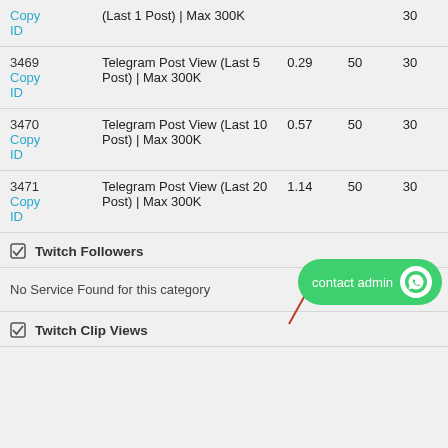| ID | Name | Rate | Min | Max |
| --- | --- | --- | --- | --- |
| Copy ID | (Last 1 Post) | Max 300K |  |  | 30 |
| 3469
Copy ID | Telegram Post View (Last 5 Post) | Max 300K | 0.29 | 50 | 30 |
| 3470
Copy ID | Telegram Post View (Last 10 Post) | Max 300K | 0.57 | 50 | 30 |
| 3471
Copy ID | Telegram Post View (Last 20 Post) | Max 300K | 1.14 | 50 | 30 |
☑ Twitch Followers
No Service Found for this category
☑ Twitch Clip Views